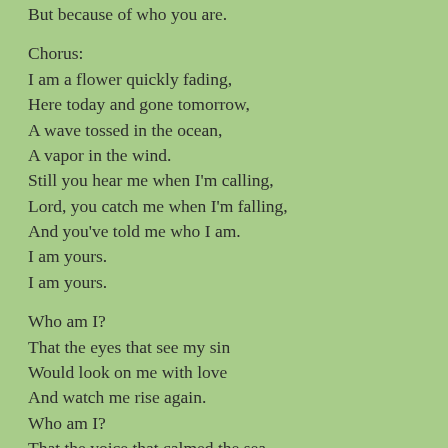But because of who you are.
Chorus:
I am a flower quickly fading,
Here today and gone tomorrow,
A wave tossed in the ocean,
A vapor in the wind.
Still you hear me when I'm calling,
Lord, you catch me when I'm falling,
And you've told me who I am.
I am yours.
I am yours.
Who am I?
That the eyes that see my sin
Would look on me with love
And watch me rise again.
Who am I?
That the voice that calmed the sea,
Would call out through the rain,
And calm the storm in me.